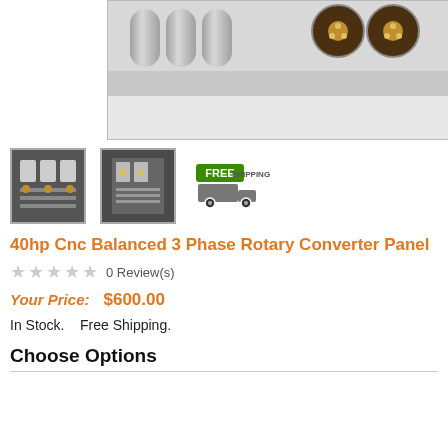[Figure (photo): Main product photo of a 40hp CNC Balanced 3 Phase Rotary Converter Panel showing internal components including cylindrical capacitors on the left and round capacitors on the right inside a gray metal enclosure]
[Figure (photo): Thumbnail 1: Close-up of control panel wiring and circuit breakers]
[Figure (photo): Thumbnail 2: Close-up of terminal block wiring and components]
[Figure (logo): Free Shipping badge with truck icon and green FREE SHIPPING label]
40hp Cnc Balanced 3 Phase Rotary Converter Panel
★★★★★ 0 Review(s)
Your Price:  $600.00
In Stock.    Free Shipping.
Choose Options